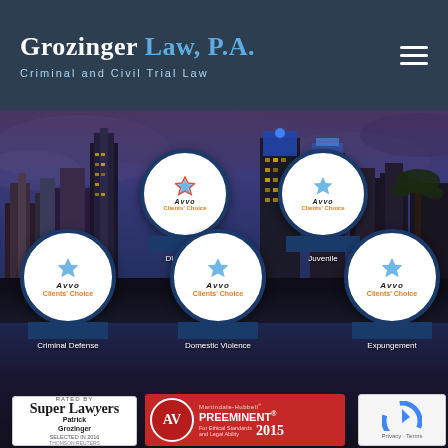Grozinger Law, P.A. — Criminal and Civil Trial Law
[Figure (screenshot): Law firm website screenshot showing city skyline of Orlando with Avvo Clients' Choice badges for DUI & DWI, Juvenile, Criminal Defense, Domestic Violence, and Expungement practice areas, plus Super Lawyers and Martindale-Hubbell AV Preeminent 2015 award logos]
DUI & DWI
Juvenile
Criminal Defense
Domestic Violence
Expungement
Super Lawvers — Patrick Grozinger — SELECTED IN 2016 — THOMSON REUTERS
Martindale-Hubbell — AV PREEMINENT® — For Ethical Standards and Legal Ability — 2015
Privacy · Terms